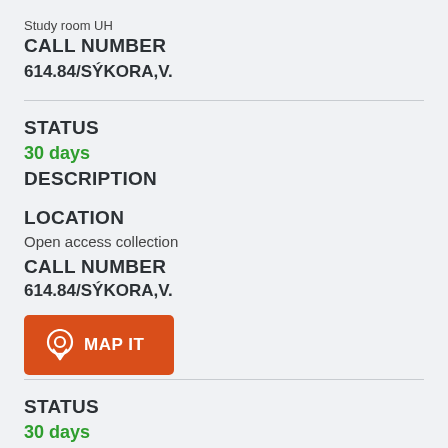Study room UH
CALL NUMBER
614.84/SÝKORA,V.
STATUS
30 days
DESCRIPTION
LOCATION
Open access collection
CALL NUMBER
614.84/SÝKORA,V.
[Figure (other): Orange MAP IT button with map pin icon]
STATUS
30 days
DESCRIPTION